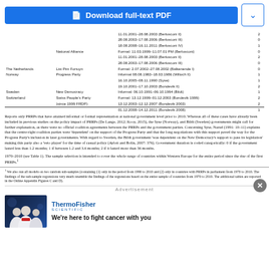[Figure (other): Download full-text PDF button with blue background and chevron expand button]
| Country | Party | Period / Government | N |
| --- | --- | --- | --- |
| Italy |  | 11.01.2001–28.08.2003 (Berlusconi II) | 2 |
|  |  | 28.08.2003–17.08.2006 (Berlusconi III) | 0 |
|  |  | 18.08.2008–16.11.2011 (Berlusconi IV) | 1 |
|  | National Alliance | Formal: 11.03.1999–11.07.01 PM (Berlusconi) | 0 |
|  |  | 11.01.2001–28.08.2003 (Berlusconi II) | 2 |
|  |  | 28.08.2003–17.08.2006 (Berlusconi III) | 0 |
| The Netherlands | List Pim Fortuyn | Formal: 2.07.2002–27.08.2002 (Balkenende I) | 0 |
| Norway | Progress Party | Informal 08.08.1983–18.03.1986 (Willoch II) | 1 |
|  |  | 16.10.2005–08.11.1990 (Syse) | 1 |
|  |  | 19.10.2001–17.10.2003 (Bondevik II) | 2 |
| Sweden | New Democracy | Informal: 06.10.1991–06.10.1994 (Bildt) | 1 |
| Switzerland | Swiss People's Party | Formal: 13.12.1999–01.12.2003 (Bondevik 1999) | 2 |
|  | (since 1999 FRDP) | 13.12.2003–12.12.2007 (Bondevik 2003) | 2 |
|  |  | 01.12.2008–14.12.2011 (Bondevik 2008) | 1 |
Reports only PRRPs that have attained informal or formal representation at national government level prior to 2010. Whereas all of these cases have already been included in previous studies on the policy impact of PRRPs (De Lange, 2012; Kooy, 2015), the Syse (Norway), and Bildt (Sweden) governments might call for further explanation, as there were no official coalition agreements between the PRRPs and the government parties. Concerning Syse, Narud (1991: 10–11) explains that the centre-right coalition parties were 'dependent' on the support of the Progress Party and that the long negotiations with this support paved the way for the Progress Party's inclusion in later governments. With regard to Sweden, the Bildt government 'was dependent on the New Democracy's support to pass its legislation' making this party also a 'veto player' for the time of casual policy (Aylott and Bolin, 2007: 376). Government duration is coded categorically: 0 if the government lasted less than 1.2 months; 1 if between 1.2 and 3.6 months; 2 if it lasted more than 36 months.
1970–2010 (see Table 1). The sample selection is intended to cover the whole range of countries within Western Europe for the entire period since the rise of the first PRRPs.
1 We also run all models on two random sub-samples (containing (1) only in the period from 1990 to 2010 and (2) only in countries with PRRPs in parliament from 1970 to 2010. The findings of the sub-sample regressions very much resemble the findings of the regressions based on the entire sample of countries from 1970 to 2010. The additional tables are reported in the Online Appendix Figures C and D).
Advertisement
[Figure (photo): ThermoFisher Scientific advertisement with photo of three scientists and tagline 'We're here to fight cancer with you']